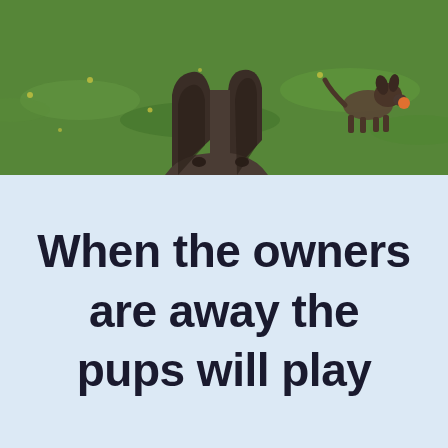[Figure (photo): Two dogs on a grassy field. In the foreground center, a dog's head peeks up showing only its large pointed ears and eyes. In the background right, a small dog runs with an orange ball in its mouth.]
When the owners are away the pups will play